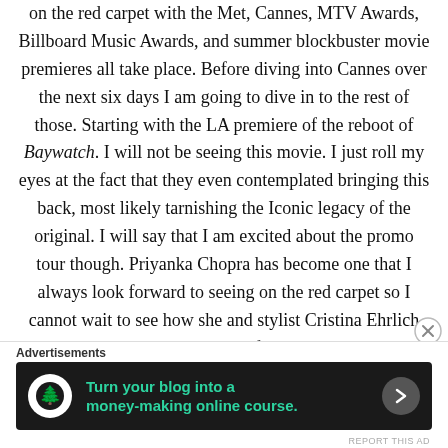on the red carpet with the Met, Cannes, MTV Awards, Billboard Music Awards, and summer blockbuster movie premieres all take place. Before diving into Cannes over the next six days I am going to dive in to the rest of those. Starting with the LA premiere of the reboot of Baywatch. I will not be seeing this movie. I just roll my eyes at the fact that they even contemplated bringing this back, most likely tarnishing the Iconic legacy of the original. I will say that I am excited about the promo tour though. Priyanka Chopra has become one that I always look forward to seeing on the red carpet so I cannot wait to see how she and stylist Cristina Ehrlich deal with dressing for the red
Advertisements
[Figure (infographic): Advertisement banner: dark background with white circular icon (person/tree silhouette), teal text 'Turn your blog into a money-making online course.' with a right arrow button, and a close X button.]